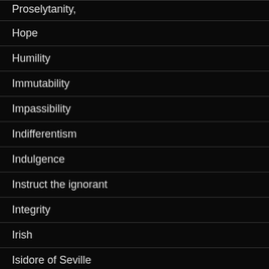Proselytanity,
Hope
Humility
Immutability
Impassibility
Indifferentism
Indulgence
Instruct the ignorant
Integrity
Irish
Isidore of Seville
Islam
Jainism